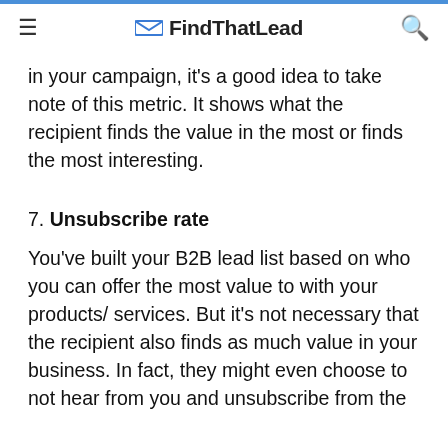FindThatLead
in your campaign, it’s a good idea to take note of this metric. It shows what the recipient finds the value in the most or finds the most interesting.
7. Unsubscribe rate
You’ve built your B2B lead list based on who you can offer the most value to with your products/ services. But it’s not necessary that the recipient also finds as much value in your business. In fact, they might even choose to not hear from you and unsubscribe from the